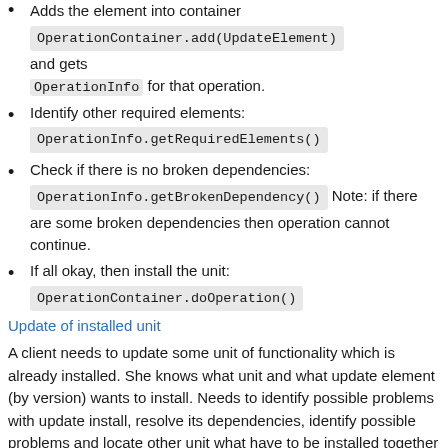Adds the element into container OperationContainer.add(UpdateElement) and gets OperationInfo for that operation.
Identify other required elements: OperationInfo.getRequiredElements()
Check if there is no broken dependencies: OperationInfo.getBrokenDependency() Note: if there are some broken dependencies then operation cannot continue.
If all okay, then install the unit: OperationContainer.doOperation()
Update of installed unit
A client needs to update some unit of functionality which is already installed. She knows what unit and what update element (by version) wants to install. Needs to identify possible problems with update install, resolve its dependencies, identify possible problems and locate other unit what have to be installed together with asked functionality.